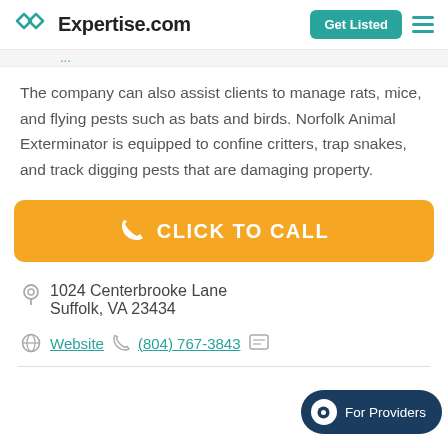Expertise.com
The company can also assist clients to manage rats, mice, and flying pests such as bats and birds. Norfolk Animal Exterminator is equipped to confine critters, trap snakes, and track digging pests that are damaging property.
CLICK TO CALL
1024 Centerbrooke Lane
Suffolk, VA 23434
Website  (804) 767-3843